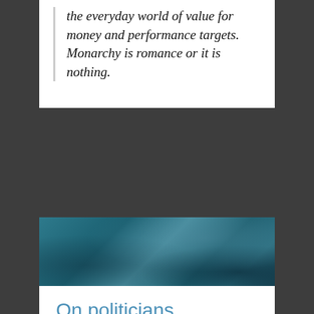the everyday world of value for money and performance targets. Monarchy is romance or it is nothing.
[Figure (photo): Teal/dark blue textured background image, appears to be a painted or natural surface with mottled blue-green tones]
On politicians
by reestheskin on 05/05/2021
Comments are disabled
Arlene Foster faces DUP revolt that could topple her as leader | Arlene Foster | The Guardian